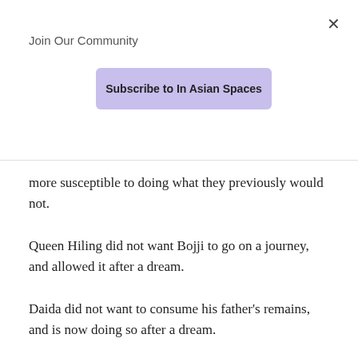×
Join Our Community
[Figure (other): Subscribe button with purple background labeled 'Subscribe to In Asian Spaces']
more susceptible to doing what they previously would not.
Queen Hiling did not want Bojji to go on a journey, and allowed it after a dream.
Daida did not want to consume his father's remains, and is now doing so after a dream.
So…is the spirit like the fates in Greek mythology? Or well not the fates (I'm thinking of Blood of Zeus)